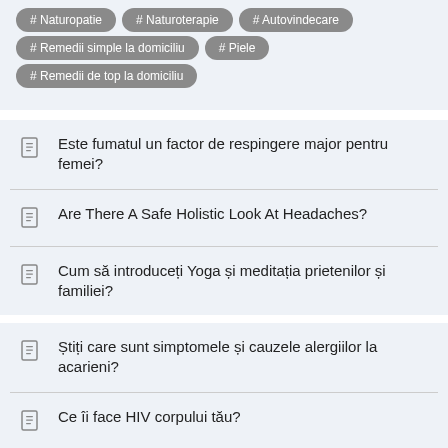# Naturopatie
# Naturoterapie
# Autovindecare
# Remedii simple la domiciliu
# Piele
# Remedii de top la domiciliu
Este fumatul un factor de respingere major pentru femei?
Are There A Safe Holistic Look At Headaches?
Cum să introduceți Yoga și meditația prietenilor și familiei?
Știți care sunt simptomele și cauzele alergiilor la acarieni?
Ce îi face HIV corpului tău?